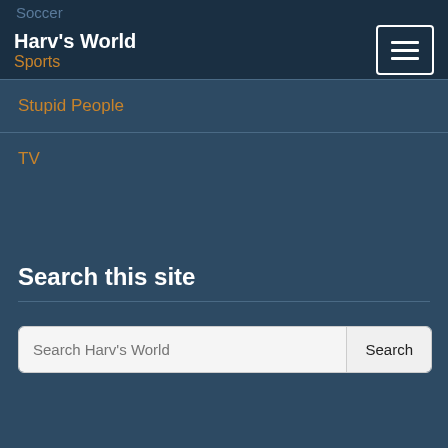Harv's World / Sports
Stupid People
TV
Search this site
Search Harv's World
Connect on Social Media